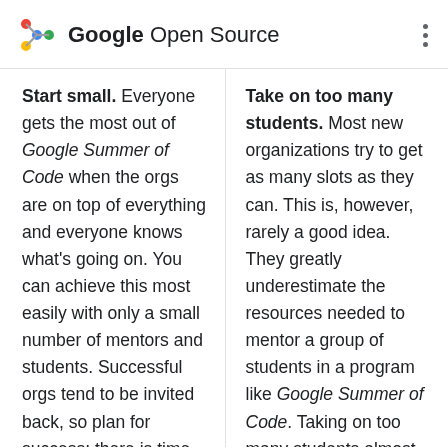Google Open Source
Start small. Everyone gets the most out of Google Summer of Code when the orgs are on top of everything and everyone knows what's going on. You can achieve this most easily with only a small number of mentors and students. Successful orgs tend to be invited back, so plan for success; there is time to grow later. It's much better to have a few overwhelming successes than many borderline cases and failures.
Take on too many students. Most new organizations try to get as many slots as they can. This is, however, rarely a good idea. They greatly underestimate the resources needed to mentor a group of students in a program like Google Summer of Code. Taking on too many students almost always leads to a poor project outcome and integration of the